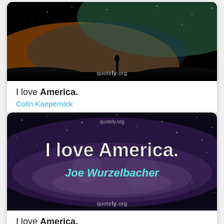[Figure (photo): Dark silhouette photo of a person standing on a hill under a colorful night sky with aurora-like hues, watermarked with quotely.org]
I love America.
Colin Kaepernick
[Figure (photo): Galaxy/starfield night sky photo with large white bold text 'I love America.' and cyan italic text 'Joe Wurzelbacher', watermarked with quotely.org]
I love America.